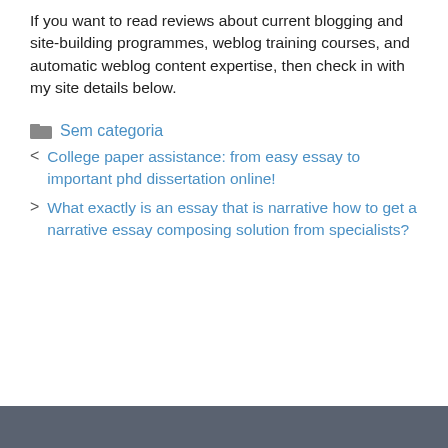If you want to read reviews about current blogging and site-building programmes, weblog training courses, and automatic weblog content expertise, then check in with my site details below.
Sem categoria
College paper assistance: from easy essay to important phd dissertation online!
What exactly is an essay that is narrative how to get a narrative essay composing solution from specialists?